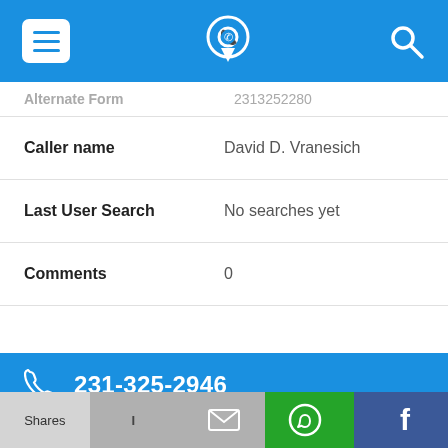App top navigation bar with hamburger menu, phone/location icon, and search icon
Alternate Form | 2313252280 (partial, clipped at top)
| Field | Value |
| --- | --- |
| Caller name | David D. Vranesich |
| Last User Search | No searches yet |
| Comments | 0 |
231-325-2946
| Field | Value |
| --- | --- |
| Alternate Form | 2313252946 |
| Caller name | T. Morse |
Shares | (mail icon) | (WhatsApp icon) | (Facebook icon)